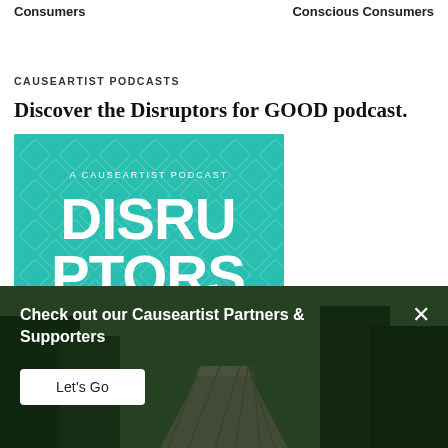Consumers | Conscious Consumers
CAUSEARTIST PODCASTS
Discover the Disruptors for GOOD podcast.
[Figure (illustration): Podcast cover art for 'Disruptors for GOOD' — a teal/green diamond-pattern background with text reading 'A CAUSEARTIST PODCAST' and large bold white letters 'DISRU PTORS']
[Figure (photo): A banner overlay showing a forest/bridge nature photo with dark green overlay, containing promotional text 'Check out our Causeartist Partners & Supporters' with a white 'Let's Go' button and an X close button.]